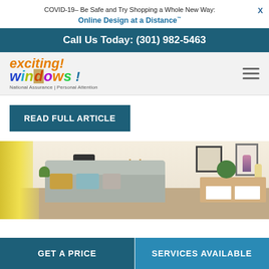COVID-19– Be Safe and Try Shopping a Whole New Way: X
Online Design at a Distance™
Call Us Today: (301) 982-5463
[Figure (logo): Exciting Windows! logo with colorful letters and tagline 'National Assurance | Personal Attention']
READ FULL ARTICLE
[Figure (photo): Interior room scene with yellow curtains, lamp, sofa with cushions, sideboard with plant, and framed art on wall]
GET A PRICE
SERVICES AVAILABLE